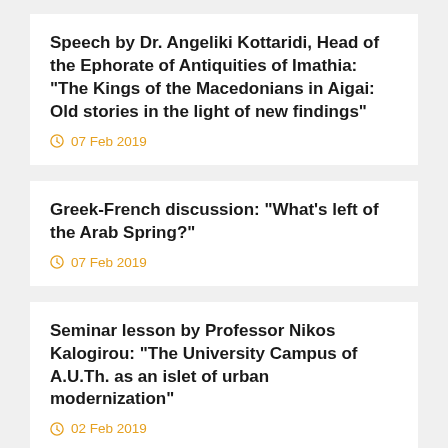Speech by Dr. Angeliki Kottaridi, Head of the Ephorate of Antiquities of Imathia: “The Kings of the Macedonians in Aigai: Old stories in the light of new findings”
07 Feb 2019
Greek-French discussion: “What’s left of the Arab Spring?”
07 Feb 2019
Seminar lesson by Professor Nikos Kalogirou: “The University Campus of A.U.Th. as an islet of urban modernization”
02 Feb 2019